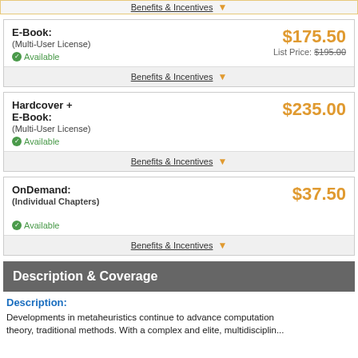Benefits & Incentives
E-Book: (Multi-User License) Available — $175.50 List Price: $195.00
Benefits & Incentives
Hardcover + E-Book: (Multi-User License) Available — $235.00
Benefits & Incentives
OnDemand: (Individual Chapters) Available — $37.50
Benefits & Incentives
Description & Coverage
Description:
Developments in metaheuristics continue to advance computation theory, traditional methods. With a complex and elite, multidisciplin...